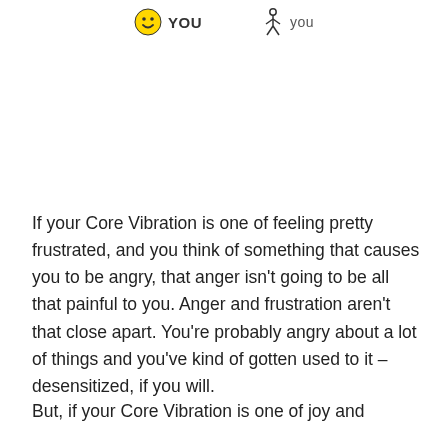[Figure (illustration): Two icons: a yellow smiley face with label 'YOU' in bold, and a stick figure with label 'you' in regular weight]
If your Core Vibration is one of feeling pretty frustrated, and you think of something that causes you to be angry, that anger isn't going to be all that painful to you. Anger and frustration aren't that close apart. You're probably angry about a lot of things and you've kind of gotten used to it – desensitized, if you will.
But, if your Core Vibration is one of joy and